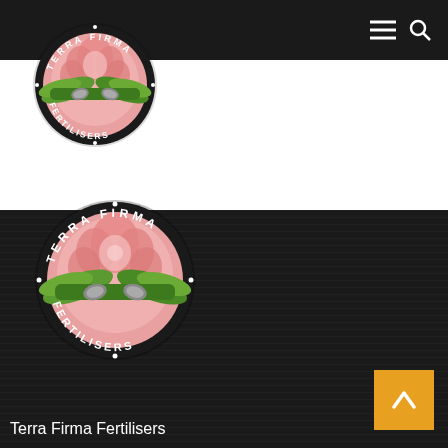[Figure (logo): Terra Firma Fertilisers logo in top navigation bar on white background - circular badge with pink/coral flower, green leaves, grey seeds, black border with white text TERRA FIRMA top and FERTILISERS bottom]
[Figure (logo): Terra Firma Fertilisers logo larger version on dark textured background - same circular badge design with TERRA FIRMA top and FERTILISERS bottom in white text]
Terra Firma Fertilisers